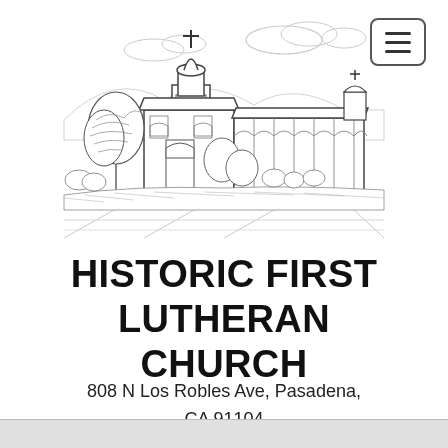[Figure (illustration): Black and white pen-and-ink architectural illustration of a Spanish-style church building with a bell tower topped by a cross, surrounded by trees and landscaping. The building has arched windows, a tiled roof, and extends horizontally to the right with additional structures.]
HISTORIC FIRST LUTHERAN CHURCH
808 N Los Robles Ave, Pasadena, CA 91104
(626) 793-1139